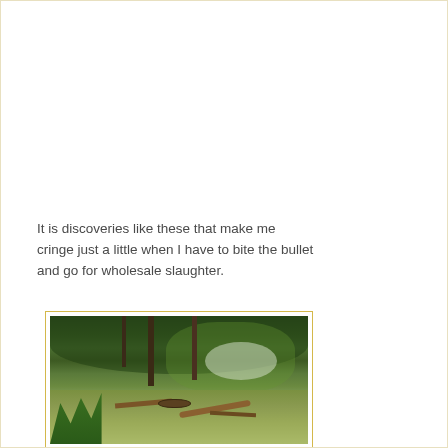It is discoveries like these that make me cringe just a little when I have to bite the bullet and go for wholesale slaughter.
[Figure (photo): Outdoor woodland garden scene viewed from above, showing a grassy clearing surrounded by dense green trees and shrubs, with a picnic table or bench, a fire pit, and a log visible in the clearing. Lush forest vegetation in the background.]